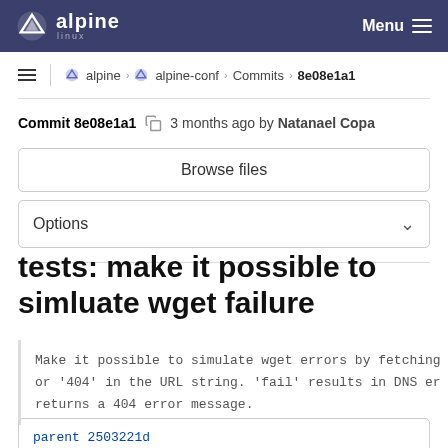Alpine Linux — Menu
alpine › alpine-conf › Commits › 8e08e1a1
Commit 8e08e1a1  3 months ago by Natanael Copa
Browse files
Options
tests: make it possible to simluate wget failure
Make it possible to simulate wget errors by fetching or '404' in the URL string. 'fail' results in DNS er returns a 404 error message.
parent 2503221d